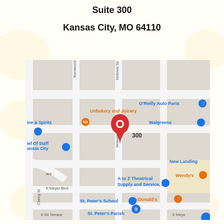Suite 300
Kansas City, MO 64110
[Figure (map): Google Maps screenshot showing the location at 300 Holmes Rd, Kansas City, MO 64110 area. Shows nearby landmarks: O'Reilly Auto Parts, Walgreens, Unbakery and Juicery, Wine & Spirits, Chief Of Staff Kansas City, A to Z Theatrical Supply and Service Inc, Wendy's, McDonald's, St. Peter's School, St. Peter's Parish, New Landing. Streets visible: Kenwood Ave, Holmes St, Holmes Rd, E Meyer Blvd, Cherry St, E 64 Terrace. Red map pin labeled '300' marks the location.]